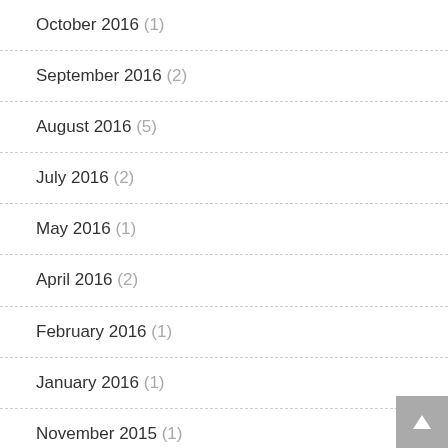October 2016 (1)
September 2016 (2)
August 2016 (5)
July 2016 (2)
May 2016 (1)
April 2016 (2)
February 2016 (1)
January 2016 (1)
November 2015 (1)
October 2015 (1)